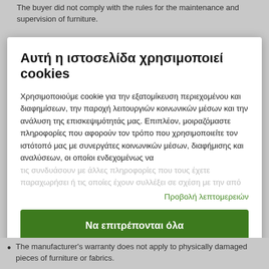The buyer did not comply with the rules for the maintenance and supervision of furniture.
Αυτή η ιστοσελίδα χρησιμοποιεί cookies
Χρησιμοποιούμε cookie για την εξατομίκευση περιεχομένου και διαφημίσεων, την παροχή λειτουργιών κοινωνικών μέσων και την ανάλυση της επισκεψιμότητάς μας. Επιπλέον, μοιραζόμαστε πληροφορίες που αφορούν τον τρόπο που χρησιμοποιείτε τον ιστότοπό μας με συνεργάτες κοινωνικών μέσων, διαφήμισης και αναλύσεων, οι οποίοι ενδεχομένως να τις συνδυάσουν με άλλες πληροφορίες που τους έχετε παραχωρήσει ή τις οποίες έχουν συλλέξει σε σχέση με την από
Προβολή λεπτομερειών
Να επιτρέπονται όλα
Προσαρμογή
The manufacturer's warranty does not apply to physically damaged pieces of furniture or fabrics.